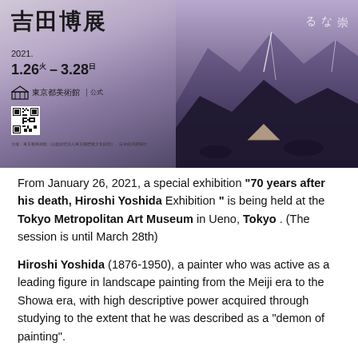[Figure (photo): Exhibition poster for Hiroshi Yoshida retrospective at Tokyo Metropolitan Art Museum, January 26 – March 28, 2021. Left side shows Japanese text '吉田博展' with date and museum logo on a muted purple-grey background. Right side shows a dramatic mountain landscape with a tent, deep purple and blue tones with snow-streaked peaks.]
From January 26, 2021, a special exhibition "70 years after his death, Hiroshi Yoshida Exhibition " is being held at the Tokyo Metropolitan Art Museum in Ueno, Tokyo . (The session is until March 28th)
Hiroshi Yoshida (1876-1950), a painter who was active as a leading figure in landscape painting from the Meiji era to the Showa era, with high descriptive power acquired through studying to the extent that he was described as a "demon of painting".
While demonstrating his talent in watercolor and oil painting, in the latter half of the painting industry, he pioneered a